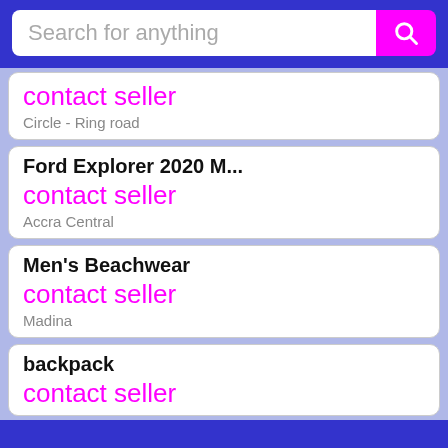[Figure (screenshot): Search bar with placeholder text 'Search for anything' and a magenta search button with a magnifying glass icon]
contact seller
Circle - Ring road
Ford Explorer 2020 M...
contact seller
Accra Central
Men's Beachwear
contact seller
Madina
backpack
contact seller